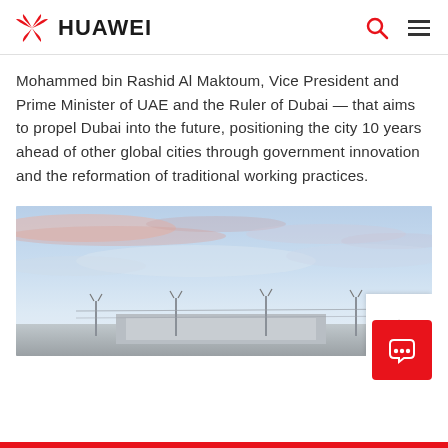HUAWEI
Mohammed bin Rashid Al Maktoum, Vice President and Prime Minister of UAE and the Ruler of Dubai — that aims to propel Dubai into the future, positioning the city 10 years ahead of other global cities through government innovation and the reformation of traditional working practices.
[Figure (photo): Panoramic photo of a building with fence/barriers under a dramatic sky with pink and blue clouds at dusk]